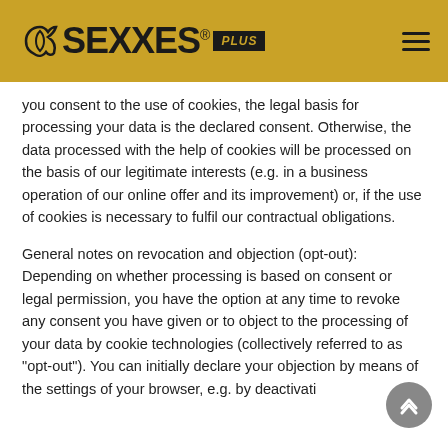[Figure (logo): SEXXES PLUS logo on golden/yellow background with hamburger menu icon]
you consent to the use of cookies, the legal basis for processing your data is the declared consent. Otherwise, the data processed with the help of cookies will be processed on the basis of our legitimate interests (e.g. in a business operation of our online offer and its improvement) or, if the use of cookies is necessary to fulfil our contractual obligations.
General notes on revocation and objection (opt-out): Depending on whether processing is based on consent or legal permission, you have the option at any time to revoke any consent you have given or to object to the processing of your data by cookie technologies (collectively referred to as "opt-out"). You can initially declare your objection by means of the settings of your browser, e.g. by deactivating the use of cookies (although this may also prevent the